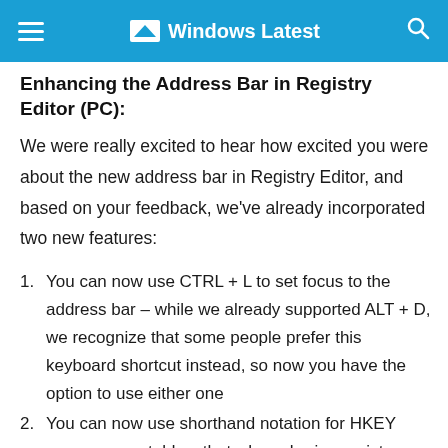Windows Latest
Enhancing the Address Bar in Registry Editor (PC):
We were really excited to hear how excited you were about the new address bar in Registry Editor, and based on your feedback, we've already incorporated two new features:
You can now use CTRL + L to set focus to the address bar – while we already supported ALT + D, we recognize that some people prefer this keyboard shortcut instead, so now you have the option to use either one
You can now use shorthand notation for HKEY names – you told us that when sharing registry paths you always use shorthand notation (HKCU) instead of typing out the